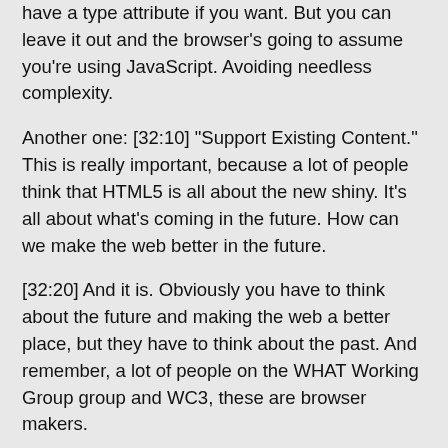have a type attribute if you want. But you can leave it out and the browser's going to assume you're using JavaScript. Avoiding needless complexity.
Another one: [32:10] "Support Existing Content." This is really important, because a lot of people think that HTML5 is all about the new shiny. It's all about what's coming in the future. How can we make the web better in the future.
[32:20] And it is. Obviously you have to think about the future and making the web a better place, but they have to think about the past. And remember, a lot of people on the WHAT Working Group group and WC3, these are browser makers.
[32:33] So they very much have to think about support existing content. This is the watchword of anybody who has had to build a browser. You have to support existing content.
[32:44] Let me show you the example of how HTML5 supports existing content. This is existing content. Here we have four different...